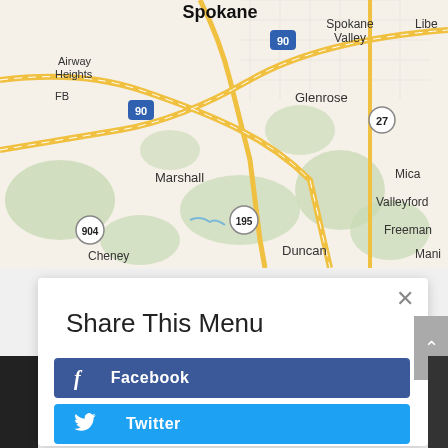[Figure (map): Street map showing Spokane area in Washington state, including Spokane Valley, Airway Heights, Glenrose, Marshall, Mica, Valleyford, Freeman, Duncan, Cheney, and highway markers for I-90, 27, 195, 904.]
Share This Menu
Facebook
Twitter